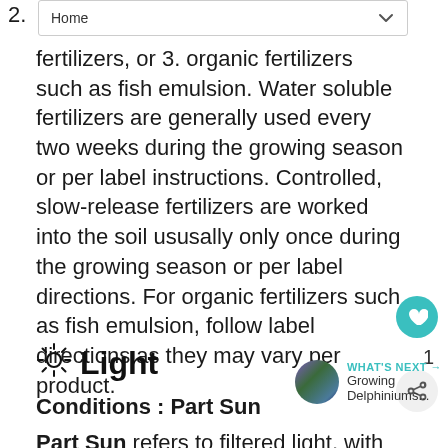Home
fertilizers, or 3. organic fertilizers such as fish emulsion. Water soluble fertilizers are generally used every two weeks during the growing season or per label instructions. Controlled, slow-release fertilizers are worked into the soil ususally only once during the growing season or per label directions. For organic fertilizers such as fish emulsion, follow label directions as they may vary per product.
☀ Light
Conditions : Part Sun
Part Sun refers to filtered light, with most sun